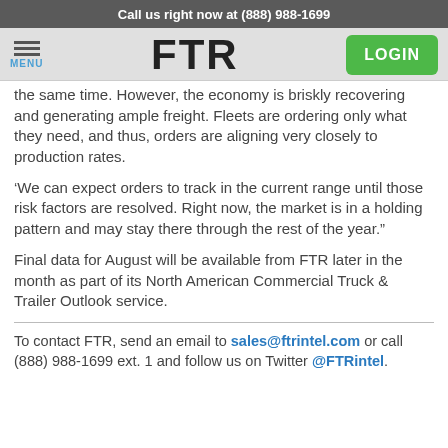Call us right now at (888) 988-1699
[Figure (logo): FTR logo with hamburger menu icon and LOGIN button]
the same time. However, the economy is briskly recovering and generating ample freight. Fleets are ordering only what they need, and thus, orders are aligning very closely to production rates.
‘We can expect orders to track in the current range until those risk factors are resolved. Right now, the market is in a holding pattern and may stay there through the rest of the year.”
Final data for August will be available from FTR later in the month as part of its North American Commercial Truck & Trailer Outlook service.
To contact FTR, send an email to sales@ftrintel.com or call (888) 988-1699 ext. 1 and follow us on Twitter @FTRintel.